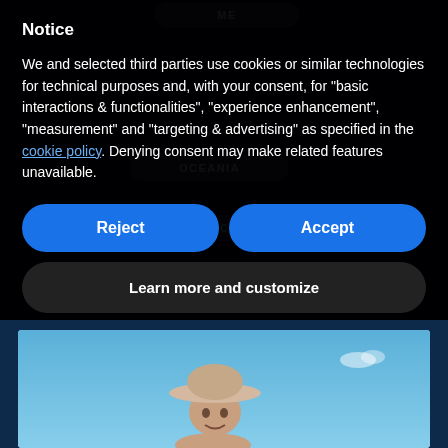Notice
We and selected third parties use cookies or similar technologies for technical purposes and, with your consent, for “basic interactions & functionalities”, “experience enhancement”, “measurement” and “targeting & advertising” as specified in the cookie policy. Denying consent may make related features unavailable.
[Figure (screenshot): Cookie consent dialog with Reject and Accept buttons, and a Learn more and customize button, overlaid on a dark map interface showing region buttons: OCEANIA, AFRICA, CA, ASIA]
[Figure (photo): Child wearing a wide-brimmed hat photographed outdoors against a blue sky]